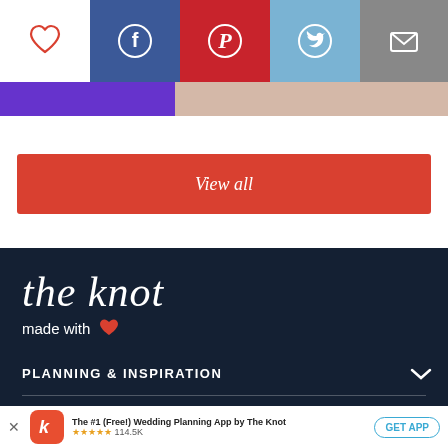[Figure (screenshot): Social sharing bar with heart icon, Facebook, Pinterest, Twitter, and email icons; image strip with purple and skin-tone sections below]
[Figure (other): Red 'View all' button]
[Figure (logo): The Knot logo on dark navy background with 'made with heart' tagline]
PLANNING & INSPIRATION
[Figure (other): App download banner: The #1 (Free!) Wedding Planning App by The Knot, 5 stars, 114.5K ratings, GET APP button]